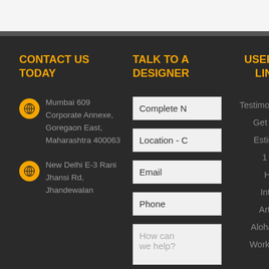CONTACT US TODAY
Mumbai 609 Corporate Annexe, Goregaon East, Maharashtra 400063
New Delhi E-3 Rani Jhansi Rd, Jhandewalan
TALK TO A DESIGNER
Complete N [form field]
Location - C [form field]
Email [form field]
Phone [form field]
How can we help? [textarea]
USEFUL LINKS
Testimonials
Get Free
Estimate
1 BHK Home Interior
Articles
Aloha Ply
Work with us